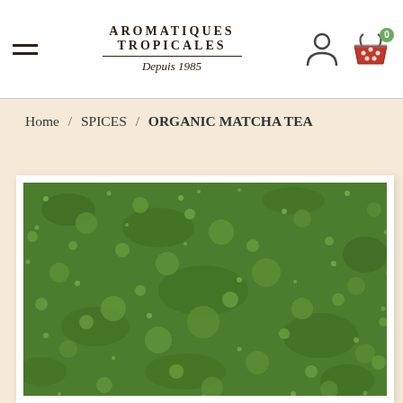AROMATIQUES TROPICALES Depuis 1985
Home / SPICES / ORGANIC MATCHA TEA
[Figure (photo): Close-up photo of bright green matcha tea powder with a rough, granular texture filling the entire frame]